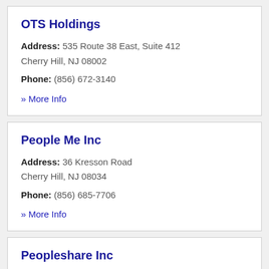OTS Holdings
Address: 535 Route 38 East, Suite 412 Cherry Hill, NJ 08002
Phone: (856) 672-3140
» More Info
People Me Inc
Address: 36 Kresson Road Cherry Hill, NJ 08034
Phone: (856) 685-7706
» More Info
Peopleshare Inc